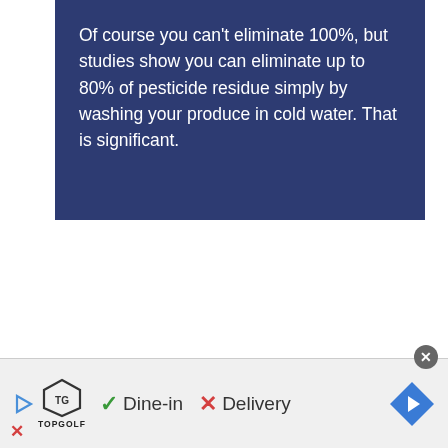Of course you can't eliminate 100%, but studies show you can eliminate up to 80% of pesticide residue simply by washing your produce in cold water. That is significant.
[Figure (other): Advertisement banner for Topgolf showing logo with shield icon, checkmark next to 'Dine-in', X next to 'Delivery', and a blue navigation arrow icon. A close (X) button appears at top right of the ad bar.]